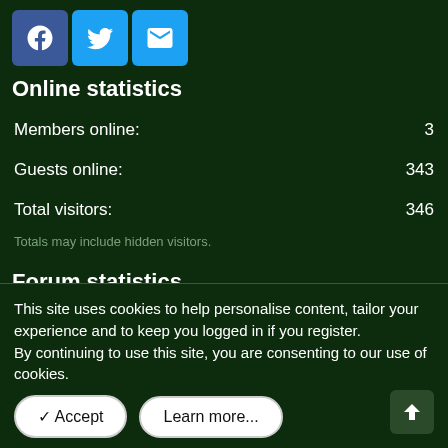[Figure (other): Social sharing icons row: Facebook (blue square with f), Twitter (light blue square with bird), Email (light blue square with envelope)]
Online statistics
Members online: 3
Guests online: 343
Total visitors: 346
Totals may include hidden visitors.
Forum statistics
This site uses cookies to help personalise content, tailor your experience and to keep you logged in if you register.
By continuing to use this site, you are consenting to our use of cookies.